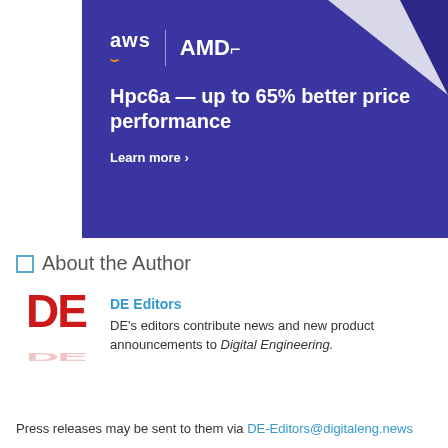[Figure (illustration): AWS and AMD co-branded advertisement banner with dark blue/indigo background, geometric corner shapes, logos of AWS and AMD, headline 'Hpc6a — up to 65% better price performance', and 'Learn more ›' call to action link.]
About the Author
DE Editors
DE's editors contribute news and new product announcements to Digital Engineering.
Press releases may be sent to them via DE-Editors@digitaleng.news